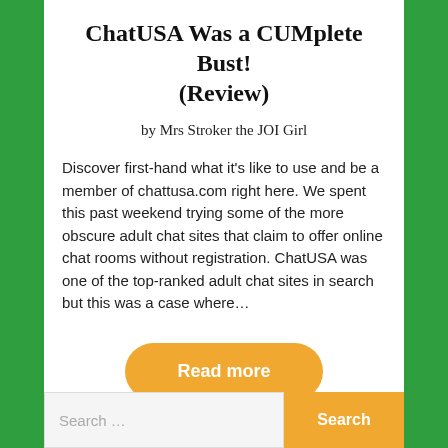ChatUSA Was a CUMplete Bust! (Review)
by Mrs Stroker the JOI Girl
Discover first-hand what it's like to use and be a member of chattusa.com right here. We spent this past weekend trying some of the more obscure adult chat sites that claim to offer online chat rooms without registration. ChatUSA was one of the top-ranked adult chat sites in search but this was a case where…
Read more
Search ...
Search